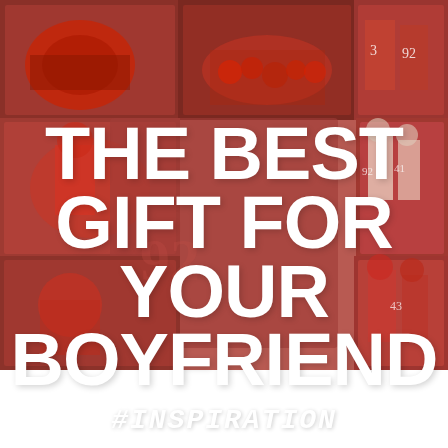[Figure (photo): A collage of American football game photos in red and white team colors. Multiple action shots of players on field, huddles, and game play. A reddish-pink color overlay is applied over a semi-transparent panel covering the center area of the image.]
THE BEST GIFT FOR YOUR BOYFRIEND
#INSPIRATION